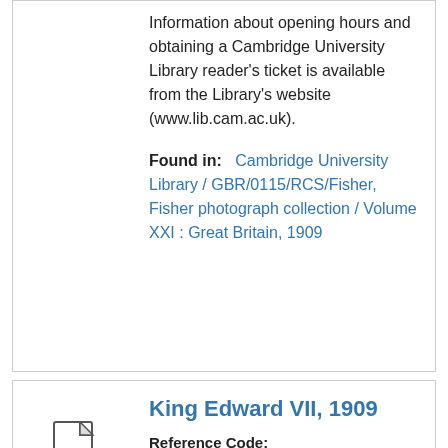Information about opening hours and obtaining a Cambridge University Library reader's ticket is available from the Library's website (www.lib.cam.ac.uk).
Found in: Cambridge University Library / GBR/0115/RCS/Fisher, Fisher photograph collection / Volume XXI : Great Britain, 1909
[Figure (other): Document/item icon (file page icon) with label 'Item' below it]
King Edward VII, 1909
Reference Code: GBR/0115/RCS/Fisher 21/5155
Scope and Contents